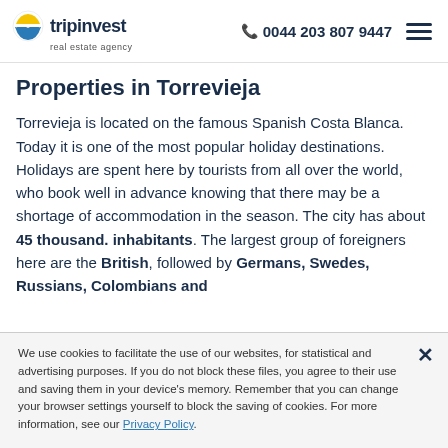tripinvest real estate agency | 0044 203 807 9447
Properties in Torrevieja
Torrevieja is located on the famous Spanish Costa Blanca. Today it is one of the most popular holiday destinations. Holidays are spent here by tourists from all over the world, who book well in advance knowing that there may be a shortage of accommodation in the season. The city has about 45 thousand. inhabitants. The largest group of foreigners here are the British, followed by Germans, Swedes, Russians, Colombians and
We use cookies to facilitate the use of our websites, for statistical and advertising purposes. If you do not block these files, you agree to their use and saving them in your device's memory. Remember that you can change your browser settings yourself to block the saving of cookies. For more information, see our Privacy Policy.